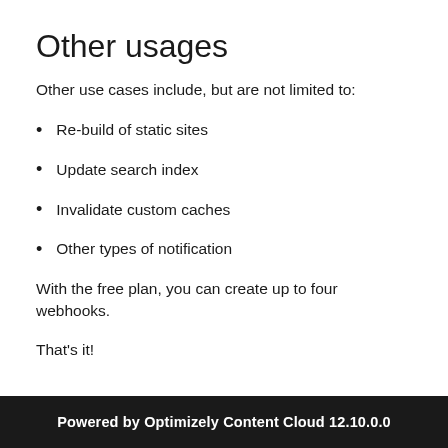Other usages
Other use cases include, but are not limited to:
Re-build of static sites
Update search index
Invalidate custom caches
Other types of notification
With the free plan, you can create up to four webhooks.
That's it!
Powered by Optimizely Content Cloud 12.10.0.0